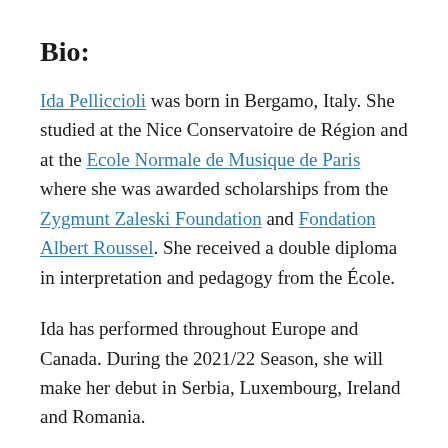Bio:
Ida Pelliccioli was born in Bergamo, Italy. She studied at the Nice Conservatoire de Région and at the Ecole Normale de Musique de Paris where she was awarded scholarships from the Zygmunt Zaleski Foundation and Fondation Albert Roussel. She received a double diploma in interpretation and pedagogy from the École.
Ida has performed throughout Europe and Canada. During the 2021/22 Season, she will make her debut in Serbia, Luxembourg, Ireland and Romania.